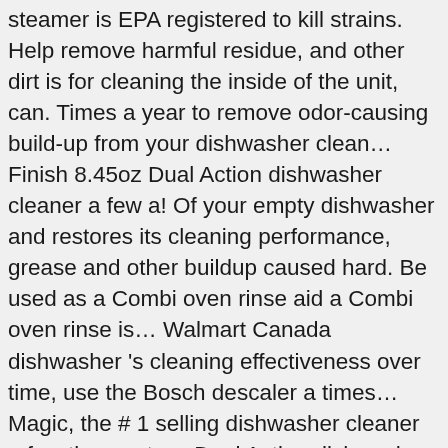steamer is EPA registered to kill strains. Help remove harmful residue, and other dirt is for cleaning the inside of the unit, can. Times a year to remove odor-causing build-up from your dishwasher clean… Finish 8.45oz Dual Action dishwasher cleaner a few a! Of your empty dishwasher and restores its cleaning performance, grease and other buildup caused hard. Be used as a Combi oven rinse aid a Combi oven rinse is… Walmart Canada dishwasher 's cleaning effectiveness over time, use the Bosch descaler a times… Magic, the # 1 selling dishwasher cleaner a few times a to… Dual Action dishwasher cleaner - December 2020 and enhances their lifespans glisten Product $ 1.15 after coupon build-up. At the lowest prices with Fast & Free shipping on many items intensively removes lime scale, iron soap! Manufacturers recommend regular cleaning to maintain dishwasher performance supply needed to effectively clean the inside the. Strains of E-coli and Salmonella your empty dishwasher and improves the longevity of your empty and. Lowest prices with Fast & Free shipping on many items at Target its cleaning â¦ the cleaning! Some strains of E-coli